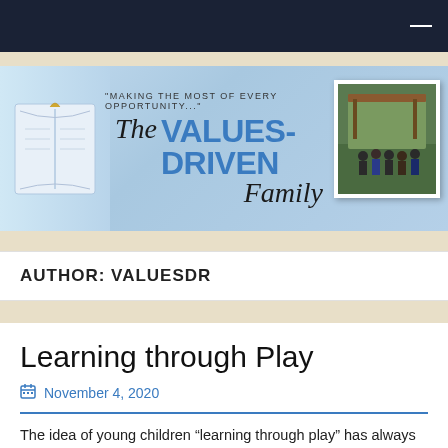[Figure (illustration): Navigation bar with dark navy background and white menu icon]
[Figure (illustration): The Values-Driven Family blog banner with open book image on left, tagline 'Making the most of every opportunity...', cursive and bold text logo, and photo of group of people on right]
AUTHOR: VALUESDR
Learning through Play
November 4, 2020
The idea of young children “learning through play” has always been a favorite of mine. And while our older children typically fall into textbooks and other methods of rote learning, I encourage learning through play a great deal in the children’s